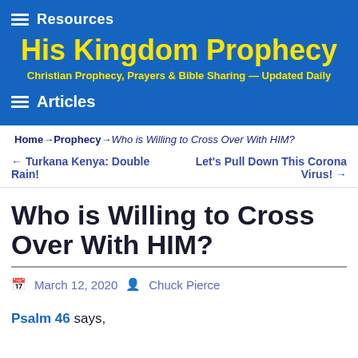Resources
His Kingdom Prophecy
Christian Prophecy, Prayers & Bible Sharing — Updated Daily
Articles
Home → Prophecy → Who is Willing to Cross Over With HIM?
← Turkana Kenya: Double Rain! | Let's Pull Down This Corona Virus! →
Who is Willing to Cross Over With HIM?
March 12, 2020 · Chuck Pierce
Psalm 46 says,